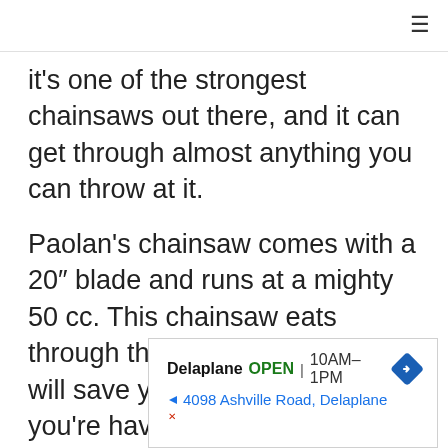≡
it's one of the strongest chainsaws out there, and it can get through almost anything you can throw at it.
Paolan's chainsaw comes with a 20″ blade and runs at a mighty 50 cc. This chainsaw eats through thick, hard wood and will save you a lot of work if you're having to cut bigger trees.
[Figure (other): Local business ad showing Delaplane, OPEN 10AM–1PM, 4098 Ashville Road, Delaplane, with navigation arrow icon]